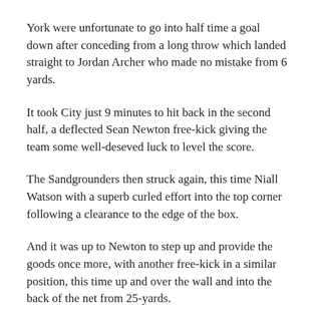York were unfortunate to go into half time a goal down after conceding from a long throw which landed straight to Jordan Archer who made no mistake from 6 yards.
It took City just 9 minutes to hit back in the second half, a deflected Sean Newton free-kick giving the team some well-deseved luck to level the score.
The Sandgrounders then struck again, this time Niall Watson with a superb curled effort into the top corner following a clearance to the edge of the box.
And it was up to Newton to step up and provide the goods once more, with another free-kick in a similar position, this time up and over the wall and into the back of the net from 25-yards.
Harry Bunn then grabbed the winning goal after great play down the right-wing and a pullback for the forward to place into the far left bottom corner.